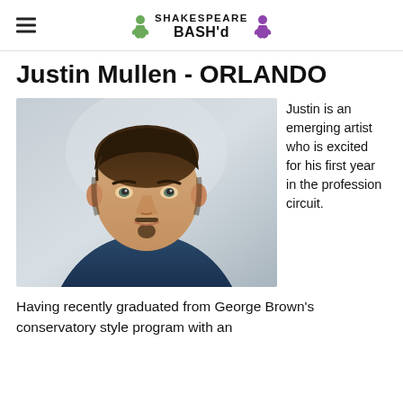Shakespeare BASH'd
Justin Mullen - ORLANDO
[Figure (photo): Headshot of Justin Mullen, a young man with dark hair and a small mustache/goatee, wearing a dark blue shirt, against a light gray background.]
Justin is an emerging artist who is excited for his first year in the profession circuit.  Having recently graduated from George Brown's conservatory style program with an